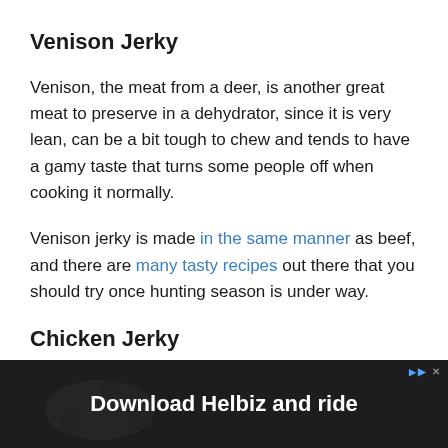Venison Jerky
Venison, the meat from a deer, is another great meat to preserve in a dehydrator, since it is very lean, can be a bit tough to chew and tends to have a gamy taste that turns some people off when cooking it normally.
Venison jerky is made in the same manner as beef, and there are many tasty recipes out there that you should try once hunting season is under way.
Chicken Jerky
[Figure (other): Advertisement banner: Download Helbiz and ride, with play and close icons at top right, dark background with person on scooter image]